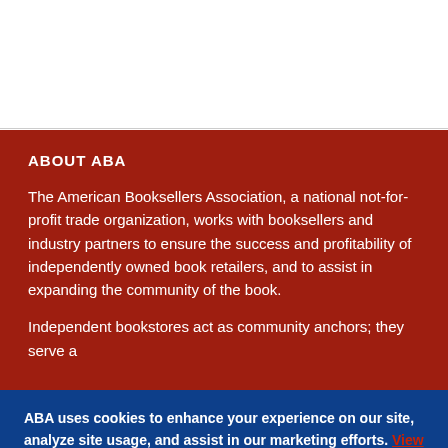ABOUT ABA
The American Booksellers Association, a national not-for-profit trade organization, works with booksellers and industry partners to ensure the success and profitability of independently owned book retailers, and to assist in expanding the community of the book.
Independent bookstores act as community anchors; they serve a
ABA uses cookies to enhance your experience on our site, analyze site usage, and assist in our marketing efforts. View our Cookie Policy. By clicking any link on this page you are giving your consent for us to set cookies. Privacy and cookie info
Accept